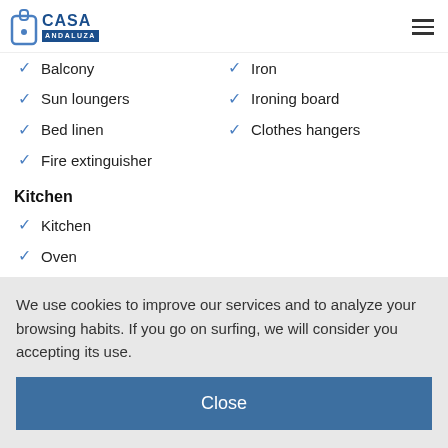CASA ANDALUZA
Balcony
Iron
Sun loungers
Ironing board
Bed linen
Clothes hangers
Fire extinguisher
Kitchen
Kitchen
Oven
Microwave
We use cookies to improve our services and to analyze your browsing habits. If you go on surfing, we will consider you accepting its use.
Close